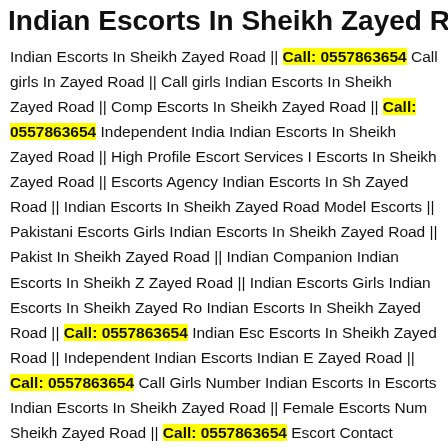Indian Escorts In Sheikh Zayed R
Indian Escorts In Sheikh Zayed Road || Call: 0557863654 Call girls In Zayed Road || Call girls Indian Escorts In Sheikh Zayed Road || Comp Escorts In Sheikh Zayed Road || Call: 0557863654 Independent India Indian Escorts In Sheikh Zayed Road || High Profile Escort Services Escorts In Sheikh Zayed Road || Escorts Agency Indian Escorts In Sh Zayed Road || Indian Escorts In Sheikh Zayed Road Model Escorts || Pakistani Escorts Girls Indian Escorts In Sheikh Zayed Road || Pakist In Sheikh Zayed Road || Indian Companion Indian Escorts In Sheikh Zayed Road || Indian Escorts Girls Indian Escorts In Sheikh Zayed Ro Indian Escorts In Sheikh Zayed Road || Call: 0557863654 Indian Esc Escorts In Sheikh Zayed Road || Independent Indian Escorts Indian E Zayed Road || Call: 0557863654 Call Girls Number Indian Escorts In Escorts Indian Escorts In Sheikh Zayed Road || Female Escorts Num Sheikh Zayed Road || Call: 0557863654 Escort Contact Number India Escort Indian Escorts In Sheikh Zayed Road || Call: 0554485266 Call Sheikh Zayed Road || escort service || Indian Escorts In Sheikh Zaye independent escorts Indian Escorts In Sheikh Zayed Road || call girl e girls Indian Escorts In Sheikh Zayed Road || High Rrofile Escort Agen